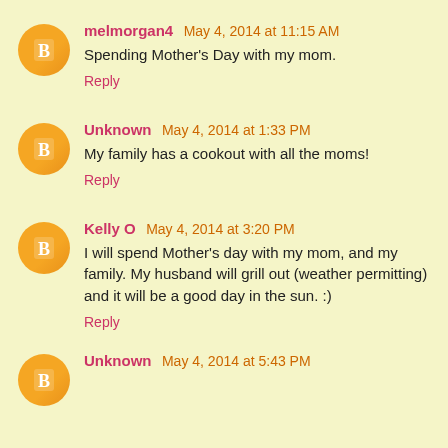melmorgan4 May 4, 2014 at 11:15 AM
Spending Mother's Day with my mom.
Reply
Unknown May 4, 2014 at 1:33 PM
My family has a cookout with all the moms!
Reply
Kelly O May 4, 2014 at 3:20 PM
I will spend Mother's day with my mom, and my family. My husband will grill out (weather permitting) and it will be a good day in the sun. :)
Reply
Unknown May 4, 2014 at 5:43 PM